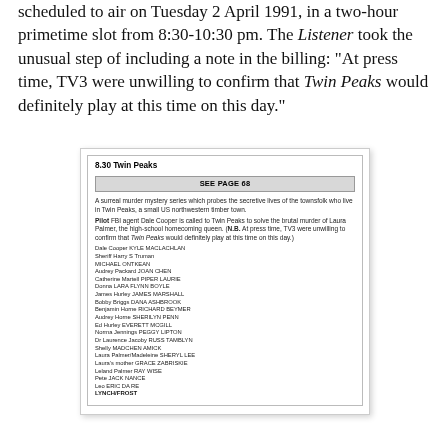scheduled to air on Tuesday 2 April 1991, in a two-hour primetime slot from 8:30-10:30 pm. The Listener took the unusual step of including a note in the billing: "At press time, TV3 were unwilling to confirm that Twin Peaks would definitely play at this time on this day."
[Figure (screenshot): A TV listings entry for Twin Peaks showing '8.30 Twin Peaks', a 'SEE PAGE 68' box, a description of the show as a surreal murder mystery series, pilot episode synopsis with N.B. note about TV3 confirmation, and a full cast list ending with LYNCH/FROST production credit.]